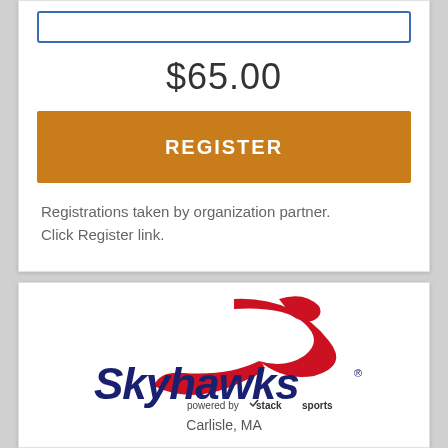$65.00
REGISTER
Registrations taken by organization partner. Click Register link.
[Figure (logo): Skyhawks logo with red hawk graphic above bold dark blue 'Skyhawks' text, and 'powered by stack sports' below in smaller text]
Carlisle, MA